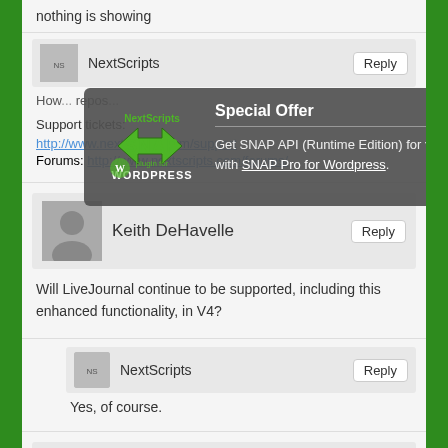nothing is showing
How... repos...
Support tickets:
http://www.nextscripts.com/support
Forums: http://www.nextscripts.com/forums/
[Figure (screenshot): Popup overlay showing NextScripts SNAP logo and Special Offer: Get SNAP API (Runtime Edition) for free with SNAP Pro for Wordpress.]
Keith DeHavelle
Will LiveJournal continue to be supported, including this enhanced functionality, in V4?
NextScripts
Yes, of course.
Julian